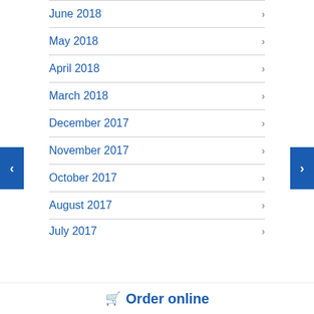June 2018
May 2018
April 2018
March 2018
December 2017
November 2017
October 2017
August 2017
July 2017
Order online